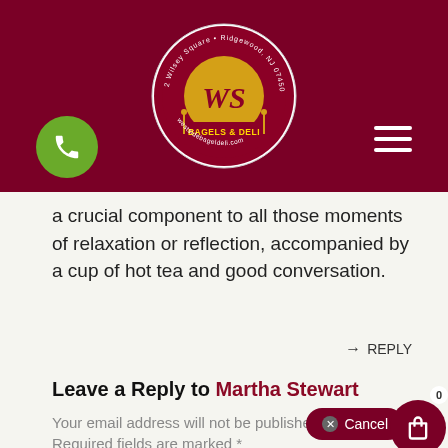[Figure (logo): West Side Bagels & Deli circular logo with dark red background, gold WS monogram, wheat stalks, and text: 2 Wilsey Square, Ridgewood, NJ 07450, 201-939-9075, westsidebageldeli.com]
a crucial component to all those moments of relaxation or reflection, accompanied by a cup of hot tea and good conversation.
→ REPLY
Leave a Reply to Martha Stewart
Your email address will not be published. Required fields are marked *